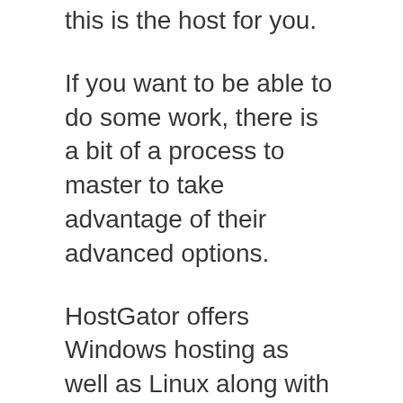this is the host for you.
If you want to be able to do some work, there is a bit of a process to master to take advantage of their advanced options.
HostGator offers Windows hosting as well as Linux along with various options to upgrade, including cloud-based hosting VPS hosting, managed WordPress, and a dedicated server. Shared hosting plans begin from $2.64/month with a three year contract.
If you’re interested in exploring HostGator I suggest using the full benefit of the 45-day money-back guarantee and testing the support thoroughly